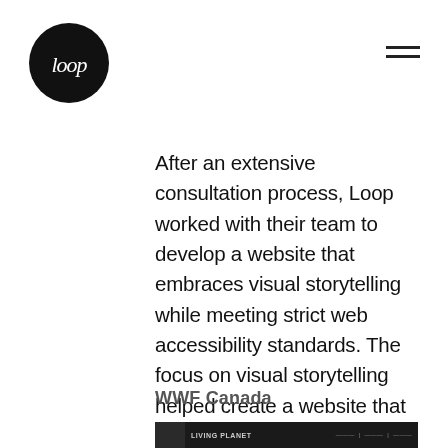Loop logo and navigation menu
After an extensive consultation process, Loop worked with their team to develop a website that embraces visual storytelling while meeting strict web accessibility standards. The focus on visual storytelling helped create a website that embraces the experiences of equality and rallies support for this important cause.
WWF Canada
[Figure (screenshot): Screenshot of the WWF Canada Living Planet website showing dark navigation bar with logo and nav links]